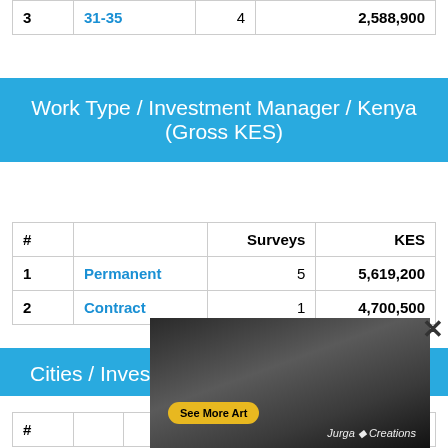| # |  | Surveys | KES |
| --- | --- | --- | --- |
| 3 | 31-35 | 4 | 2,588,900 |
Work Type / Investment Manager / Kenya (Gross KES)
| # |  | Surveys | KES |
| --- | --- | --- | --- |
| 1 | Permanent | 5 | 5,619,200 |
| 2 | Contract | 1 | 4,700,500 |
Cities / Investment Manager / Kenya
| # |  | Surveys | KES |
| --- | --- | --- | --- |
[Figure (illustration): Ad overlay showing an owl and lion illustration with 'See More Art' button and 'Jurga Creations' branding]